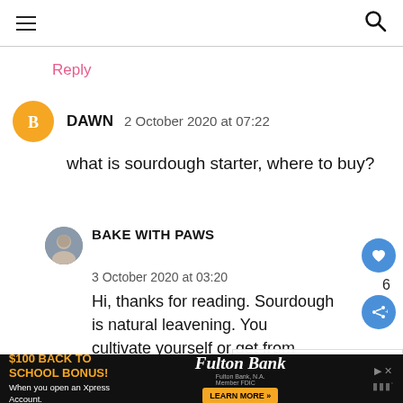Navigation bar with hamburger menu and search icon
Reply
DAWN  2 October 2020 at 07:22
what is sourdough starter, where to buy?
BAKE WITH PAWS
3 October 2020 at 03:20
Hi, thanks for reading. Sourdough is natural leavening. You cultivate yourself or get from someone you know that they are
[Figure (infographic): What's Next overlay with bread bun image and text: WHAT'S NEXT → Japanese Soft White Buns....]
$100 BACK TO SCHOOL BONUS! When you open an Xpress Account. Fulton Bank LEARN MORE »